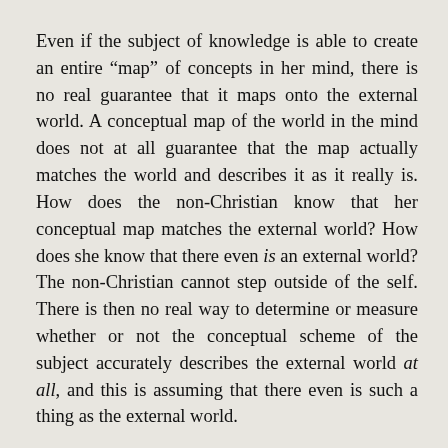Even if the subject of knowledge is able to create an entire “map” of concepts in her mind, there is no real guarantee that it maps onto the external world. A conceptual map of the world in the mind does not at all guarantee that the map actually matches the world and describes it as it really is. How does the non-Christian know that her conceptual map matches the external world? How does she know that there even is an external world? The non-Christian cannot step outside of the self. There is then no real way to determine or measure whether or not the conceptual scheme of the subject accurately describes the external world at all, and this is assuming that there even is such a thing as the external world.
The non-Christian simply cannot know the objects of knowledge. The non-Christian, starting with the self, cannot get to the object of knowledge. There is no known connection between the subject and object of knowledge. Arguments for knowing objects which start from the subject will end with the subject. Further, there does not appear to be any way on this approach to knowledge to get outside of the self as far as cognitive and sensory tools go in order to make judgments concerning the cognitive or sensory tools.